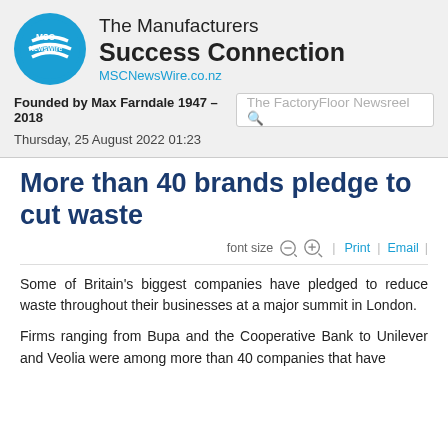The Manufacturers Success Connection
MSCNewsWire.co.nz
Founded by Max Farndale 1947 – 2018
Thursday, 25 August 2022 01:23
More than 40 brands pledge to cut waste
font size  −  +  |  Print  |  Email
Some of Britain's biggest companies have pledged to reduce waste throughout their businesses at a major summit in London.
Firms ranging from Bupa and the Cooperative Bank to Unilever and Veolia were among more than 40 companies that have